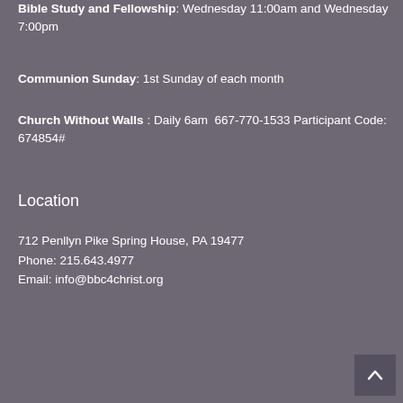Bible Study and Fellowship: Wednesday 11:00am and Wednesday 7:00pm
Communion Sunday: 1st Sunday of each month
Church Without Walls : Daily 6am  667-770-1533 Participant Code: 674854#
Location
712 Penllyn Pike Spring House, PA 19477
Phone: 215.643.4977
Email: info@bbc4christ.org